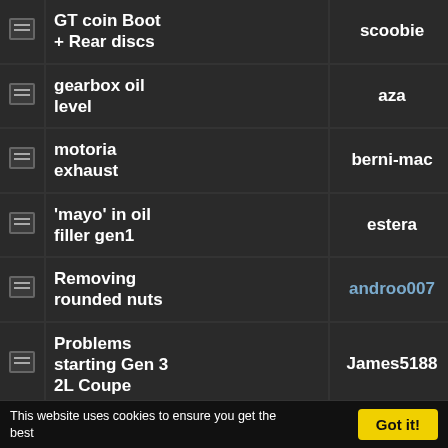|  | Topic | User | Replies |
| --- | --- | --- | --- |
| [icon] | GT coin Boot + Rear discs | scoobie | 5 |
| [icon] | gearbox oil level | aza | 2 |
| [icon] | motoria exhaust | berni-mac | 8 |
| [icon] | 'mayo' in oil filler gen1 | estera | 5 |
| [icon] | Removing rounded nuts | androo007 | 8 |
| [icon] | Problems starting Gen 3 2L Coupe | James5188 | 7 |
| [icon] | mrkieran23 your engine has arrived | sharky | 18 |
This website uses cookies to ensure you get the best